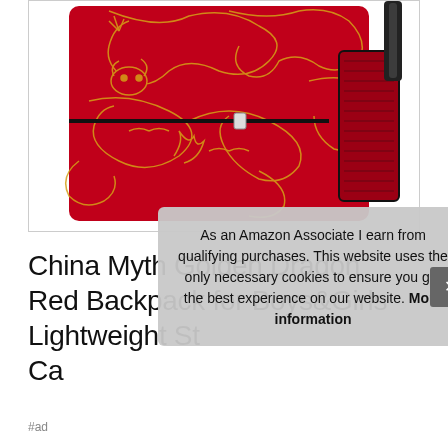[Figure (photo): Red backpack with golden Chinese dragon pattern, black zippers and straps, mesh side pocket, photographed against white background.]
China Myth Golden Dragon Red Backpack for Boys&Girls Lightweight Stu Ca
As an Amazon Associate I earn from qualifying purchases. This website uses the only necessary cookies to ensure you get the best experience on our website. More information
#ad